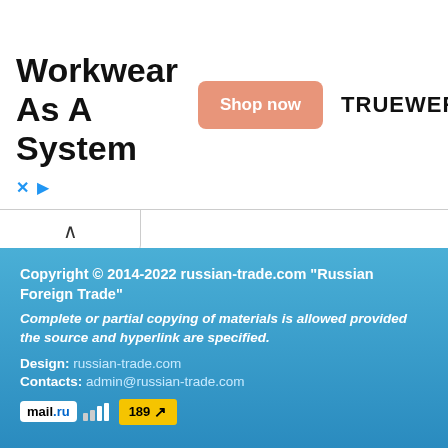[Figure (screenshot): Advertisement banner for Truewerk workwear with title 'Workwear As A System', a salmon-colored 'Shop now' button, and the TRUEWERK logo]
Copyright © 2014-2022 russian-trade.com "Russian Foreign Trade"
Complete or partial copying of materials is allowed provided the source and hyperlink are specified.
Design: russian-trade.com
Contacts: admin@russian-trade.com